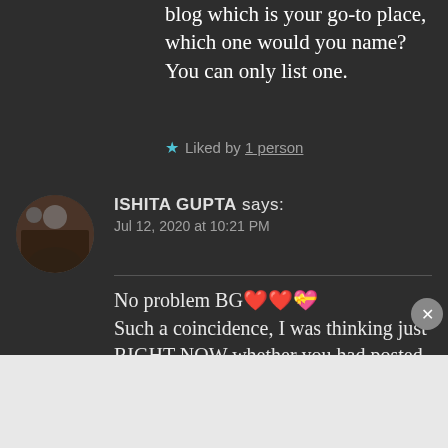blog which is your go-to place, which one would you name? You can only list one.
Liked by 1 person
ISHITA GUPTA says: Jul 12, 2020 at 10:21 PM
No problem BG❤❤💝 Such a coincidence, I was thinking just RIGHT NOW whether you had posted the
Advertisements
[Figure (screenshot): Day One journaling app advertisement banner with cyan background, showing app icons and text 'The only journaling app you'll ever need.']